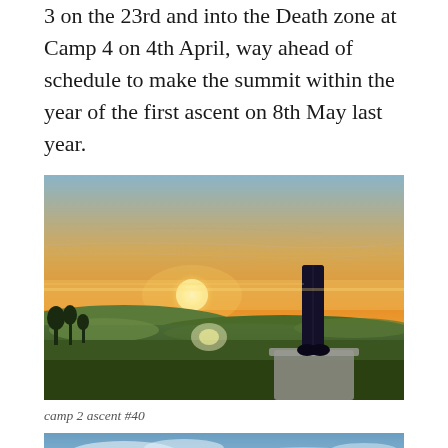3 on the 23rd and into the Death zone at Camp 4 on 4th April, way ahead of schedule to make the summit within the year of the first ascent on 8th May last year.
[Figure (photo): Person standing on a stone pedestal/pillar silhouetted against a dramatic sunset over a wide countryside landscape. The sky is orange and yellow with the sun low on the horizon. Left half shows rolling green fields and bare trees. The figure's legs and boots are visible in dark silhouette.]
camp 2 ascent #40
[Figure (photo): Partial view of a sky photo, mostly blue sky with some clouds, appears to be a mountain or outdoor scene, cropped at the bottom of the page.]